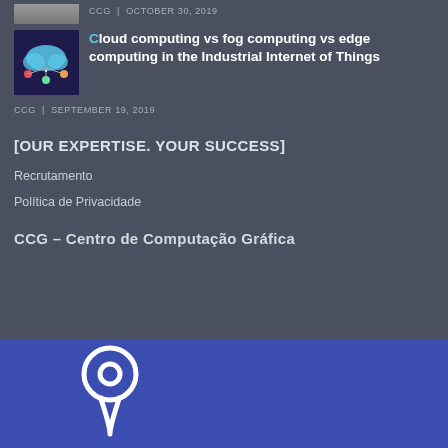CCG | OCTOBER 30, 2019
[Figure (photo): Thumbnail image of article, partially visible at top]
[Figure (illustration): Cloud computing illustration with colorful cloud and network icons on dark blue background]
Cloud computing vs fog computing vs edge computing in the Industrial Internet of Things
CCG | SEPTEMBER 19, 2019
[OUR EXPERTISE. YOUR SUCCESS]
Recrutamento
Política de Privacidade
CCG – Centro de Computação Gráfica
[Figure (map): Blue map area with white location pin icon]